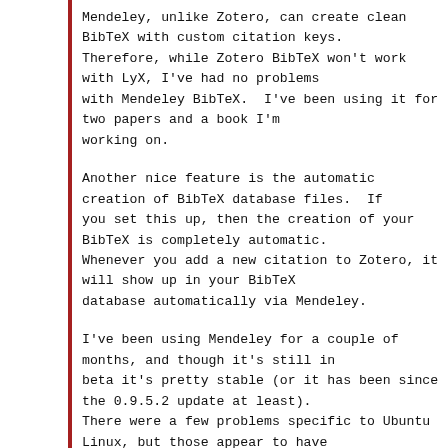Mendeley, unlike Zotero, can create clean BibTeX with custom citation keys. Therefore, while Zotero BibTeX won't work with LyX, I've had no problems with Mendeley BibTeX.  I've been using it for two papers and a book I'm working on.
Another nice feature is the automatic creation of BibTeX database files.  If you set this up, then the creation of your BibTeX is completely automatic. Whenever you add a new citation to Zotero, it will show up in your BibTeX database automatically via Mendeley.
I've been using Mendeley for a couple of months, and though it's still in beta it's pretty stable (or it has been since the 0.9.5.2 update at least). There were a few problems specific to Ubuntu Linux, but those appear to have been sorted out.